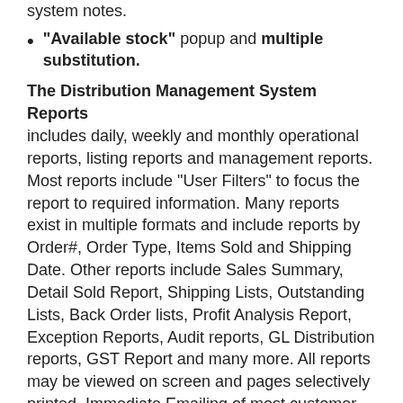system notes.
"Available stock" popup and multiple substitution.
The Distribution Management System Reports
includes daily, weekly and monthly operational reports, listing reports and management reports. Most reports include “User Filters” to focus the report to required information. Many reports exist in multiple formats and include reports by Order#, Order Type, Items Sold and Shipping Date. Other reports include Sales Summary, Detail Sold Report, Shipping Lists, Outstanding Lists, Back Order lists, Profit Analysis Report, Exception Reports, Audit reports, GL Distribution reports, GST Report and many more. All reports may be viewed on screen and pages selectively printed. Immediate Emailing of most customer and internal reports is available.
The Distribution Management System Integrates
to the Inventory Control module, the Purchasing and